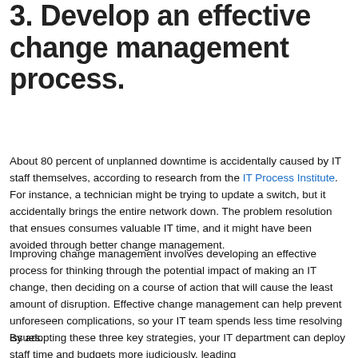3. Develop an effective change management process.
About 80 percent of unplanned downtime is accidentally caused by IT staff themselves, according to research from the IT Process Institute. For instance, a technician might be trying to update a switch, but it accidentally brings the entire network down. The problem resolution that ensues consumes valuable IT time, and it might have been avoided through better change management.
Improving change management involves developing an effective process for thinking through the potential impact of making an IT change, then deciding on a course of action that will cause the least amount of disruption. Effective change management can help prevent unforeseen complications, so your IT team spends less time resolving issues.
By adopting these three key strategies, your IT department can deploy staff time and budgets more judiciously, leading to more effective use of IT...